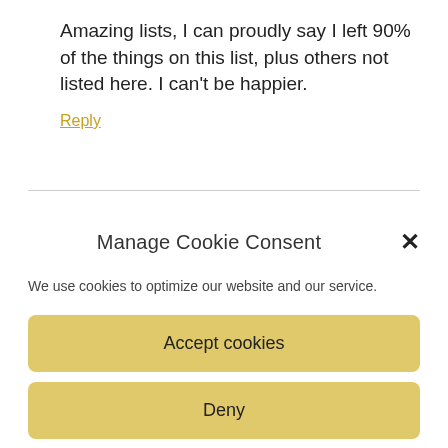Amazing lists, I can proudly say I left 90% of the things on this list, plus others not listed here. I can't be happier.
Reply
Manage Cookie Consent
We use cookies to optimize our website and our service.
Accept cookies
Deny
View preferences